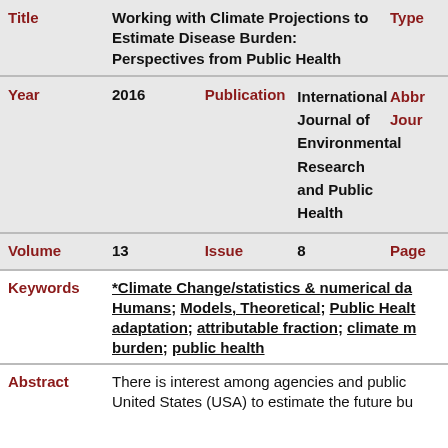| Field | Value | Field2 | Value2 | Field3 |
| --- | --- | --- | --- | --- |
| Title | Working with Climate Projections to Estimate Disease Burden: Perspectives from Public Health | Type |  |  |
| Year | 2016 | Publication | International Journal of Environmental Research and Public Health | Abbr / Jour |
| Volume | 13 | Issue | 8 | Page |
| Keywords | *Climate Change/statistics & numerical da... Humans; Models, Theoretical; Public Healt... adaptation; attributable fraction; climate m... burden; public health |  |  |  |
| Abstract | There is interest among agencies and public ... United States (USA) to estimate the future bu... |  |  |  |